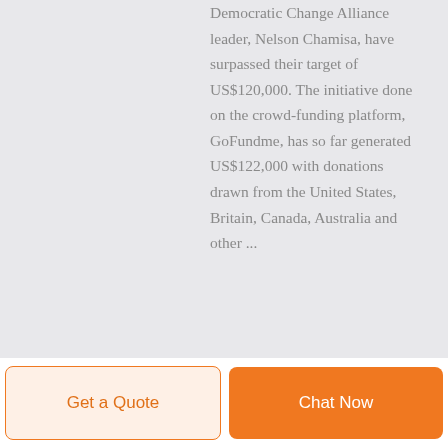Democratic Change Alliance leader, Nelson Chamisa, have surpassed their target of US$120,000. The initiative done on the crowd-funding platform, GoFundme, has so far generated US$122,000 with donations drawn from the United States, Britain, Canada, Australia and other ...
Get a Quote
Chat Now